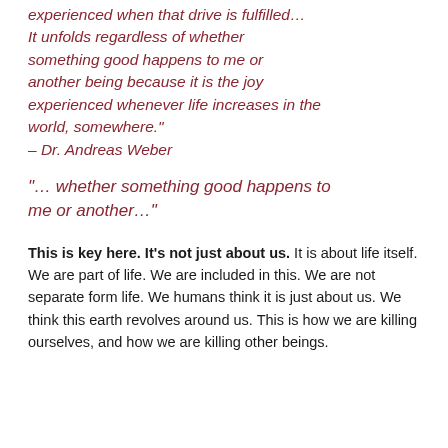experienced when that drive is fulfilled… It unfolds regardless of whether something good happens to me or another being because it is the joy experienced whenever life increases in the world, somewhere." – Dr. Andreas Weber
"… whether something good happens to me or another…"
This is key here. It's not just about us. It is about life itself. We are part of life. We are included in this. We are not separate form life. We humans think it is just about us. We think this earth revolves around us. This is how we are killing ourselves, and how we are killing other beings.